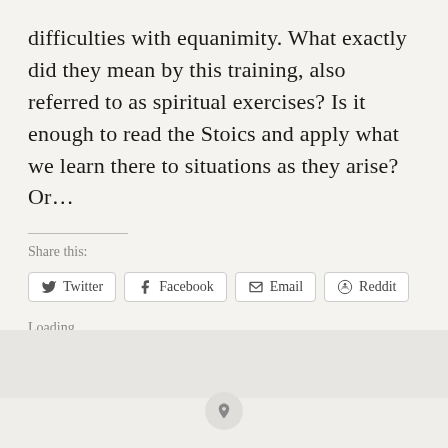difficulties with equanimity. What exactly did they mean by this training, also referred to as spiritual exercises? Is it enough to read the Stoics and apply what we learn there to situations as they arise? Or...
Share this:
[Figure (other): Social share buttons: Twitter, Facebook, Email, Reddit]
Loading...
[Figure (other): Pin/pushpin icon button in a circle at the bottom]